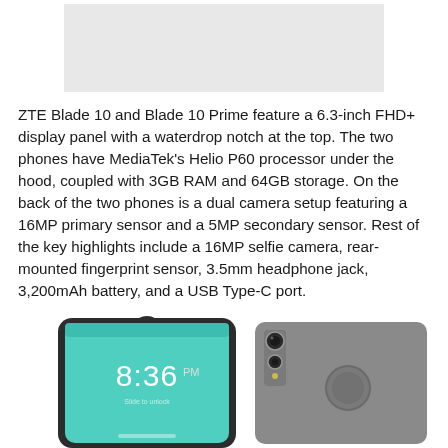[Figure (photo): Gray placeholder image at top of page (partially visible product image)]
ZTE Blade 10 and Blade 10 Prime feature a 6.3-inch FHD+ display panel with a waterdrop notch at the top. The two phones have MediaTek's Helio P60 processor under the hood, coupled with 3GB RAM and 64GB storage. On the back of the two phones is a dual camera setup featuring a 16MP primary sensor and a 5MP secondary sensor. Rest of the key highlights include a 16MP selfie camera, rear-mounted fingerprint sensor, 3.5mm headphone jack, 3,200mAh battery, and a USB Type-C port.
[Figure (photo): ZTE Blade 10 smartphones shown from front and back views. Front view shows the phone with teal/green display showing 8:36 PM time. Back view shows the dual camera setup and fingerprint sensor.]